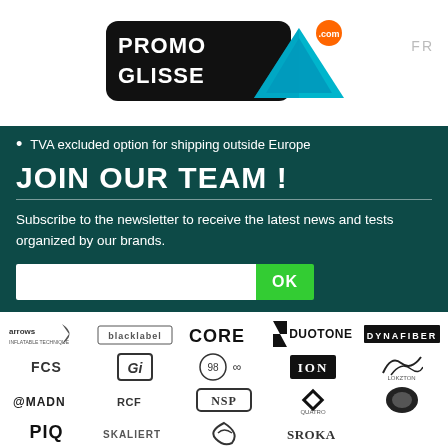[Figure (logo): PromoGlisse.com logo with mountain/triangle graphic and .com badge, FR link top right]
TVA excluded option for shipping outside Europe
JOIN OUR TEAM !
Subscribe to the newsletter to receive the latest news and tests organized by our brands.
[Figure (other): Email newsletter signup form with text input and OK button]
[Figure (logo): Brand logos grid: Arrows, Blacklabel, Core, Duotone, Dynafiber, FCS, GI, 98a, ION, Lokzton, Madness, RCF, NSP, PIQ, Quatro, (brand), Skaliert, (brand), Sroka, (trees), Simanova, Taarda and others]